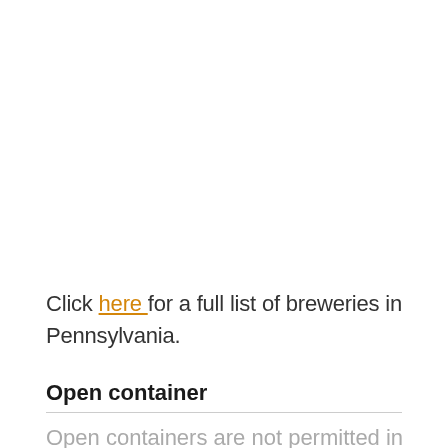Click here for a full list of breweries in Pennsylvania.
Open container
Open containers are not permitted in